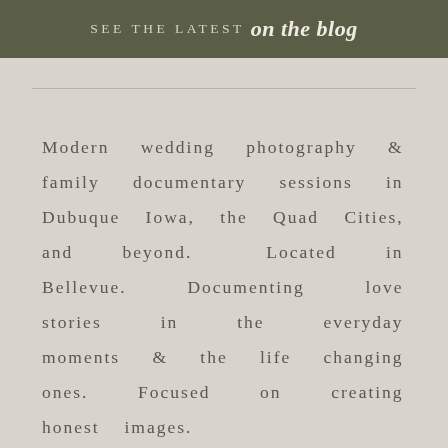SEE THE LATEST on the blog
Modern wedding photography & family documentary sessions in Dubuque Iowa, the Quad Cities, and beyond. Located in Bellevue. Documenting love stories in the everyday moments & the life changing ones. Focused on creating honest images.